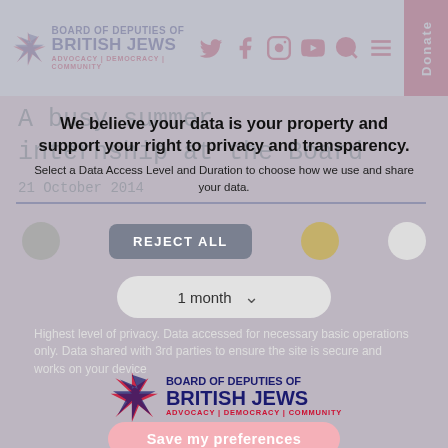Board of Deputies of British Jews | ADVOCACY | DEMOCRACY | COMMUNITY
A busy summer internship at the Board
21 October 2014
[Figure (screenshot): Cookie consent overlay with 'We believe your data is your property and support your right to privacy and transparency.' heading, Reject All button with toggle circles, 1 month duration dropdown, privacy description text, Board of Deputies logo, and Save my preferences button.]